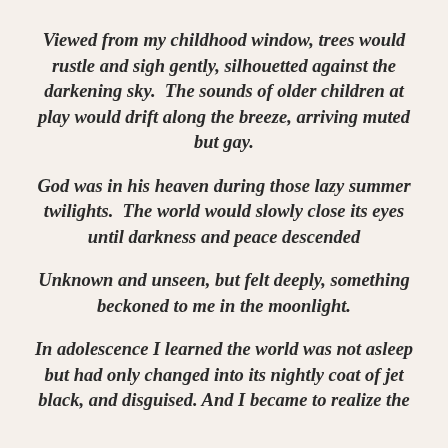Viewed from my childhood window, trees would rustle and sigh gently, silhouetted against the darkening sky.  The sounds of older children at play would drift along the breeze, arriving muted but gay.
God was in his heaven during those lazy summer twilights.  The world would slowly close its eyes until darkness and peace descended
Unknown and unseen, but felt deeply, something beckoned to me in the moonlight.
In adolescence I learned the world was not asleep but had only changed into its nightly coat of jet black, and disguised. And I became to realize the